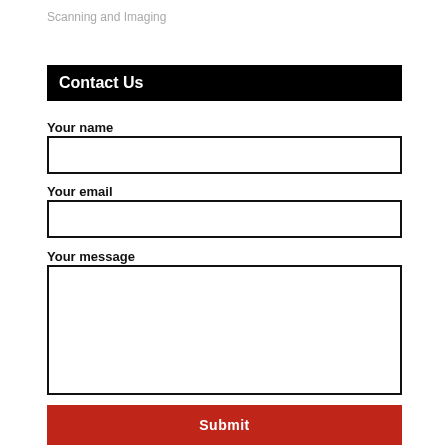Scanning and Imaging
Contact Us
Your name
Your email
Your message
Submit